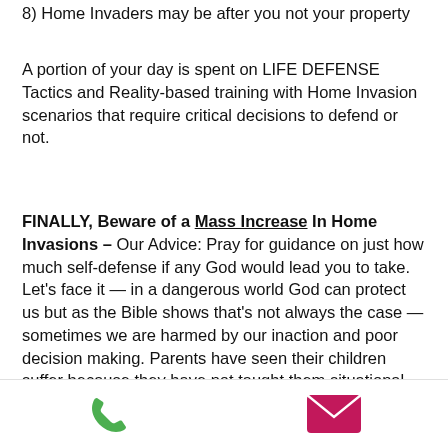8) Home Invaders may be after you not your property
A portion of your day is spent on LIFE DEFENSE Tactics and Reality-based training with Home Invasion scenarios that require critical decisions to defend or not.
FINALLY, Beware of a Mass Increase In Home Invasions – Our Advice: Pray for guidance on just how much self-defense if any God would lead you to take. Let's face it — in a dangerous world God can protect us but as the Bible shows that's not always the case — sometimes we are harmed by our inaction and poor decision making. Parents have seen their children suffer because they have not taught them situational awareness and defensive strategies for dealing with dangerous situations. Knowing that these dangers are coming at some point in the coming years we strongly recommend you prayerfully consider attending our HOME INVASION SURVIVAL tactical training and weekly LIFE DEFENSE Courses... not
phone and email contact icons